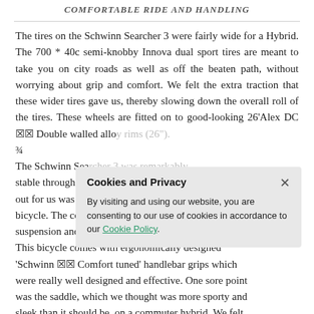COMFORTABLE RIDE AND HANDLING
The tires on the Schwinn Searcher 3 were fairly wide for a Hybrid. The 700 * 40c semi-knobby Innova dual sport tires are meant to take you on city roads as well as off the beaten path, without worrying about grip and comfort. We felt the extra traction that these wider tires gave us, thereby slowing down the overall roll of the tires. These wheels are fitted on to good-looking 26'Alex DC ×× Double walled alloy rims (26"). ¾ The Schwinn Searcher 3 was remarkably stable through our test rides. What really stood out for us was the front suspension fork on this bicycle. The combination of the front suspension, rear suspension and the wide tires aided the ride quality. This bicycle comes with ergonomically designed 'Schwinn ×× Comfort tuned' handlebar grips which were really well designed and effective. One sore point was the saddle, which we thought was more sporty and sleek than it should be, on a commuter hybrid. We felt
Cookies and Privacy

By visiting and using our website, you are consenting to our use of cookies in accordance to our Cookie Policy.